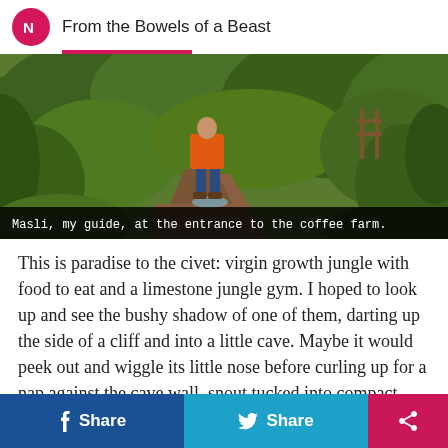From the Bowels of a Beast
[Figure (photo): A person in an orange jacket standing on a narrow jungle path surrounded by dense green vegetation at the entrance to a coffee farm. A stream or wet path is visible.]
Masli, my guide, at the entrance to the coffee farm.
This is paradise to the civet: virgin growth jungle with food to eat and a limestone jungle gym. I hoped to look up and see the bushy shadow of one of them, darting up the side of a cliff and into a little cave. Maybe it would peek out and wiggle its little nose before curling up for a nap against the cave wall, snout tucked into compact paws.
f Share  Share  [share icon]